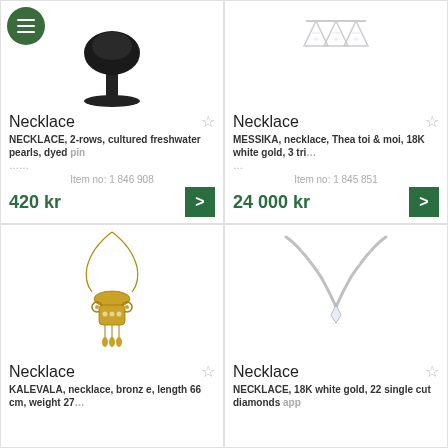[Figure (photo): Black mushroom/knob shaped jewelry stand with pearl necklace]
Necklace
NECKLACE, 2-rows, cultured freshwater pearls, dyed pin...
Item no: 1 846 908
420 kr
[Figure (photo): Silver triangle pendant necklace (MESSIKA)]
Necklace
MESSIKA, necklace, Thea toi & moi, 18K white gold, 3 tri...
Item no: 1 845 851
24 000 kr
[Figure (photo): KALEVALA bronze necklace with ornate pendant]
Necklace
KALEVALA, necklace, bronze, length 66 cm, weight 27...
[Figure (photo): 18K white gold necklace with diamonds]
Necklace
NECKLACE, 18K white gold, 22 single cut diamonds app...